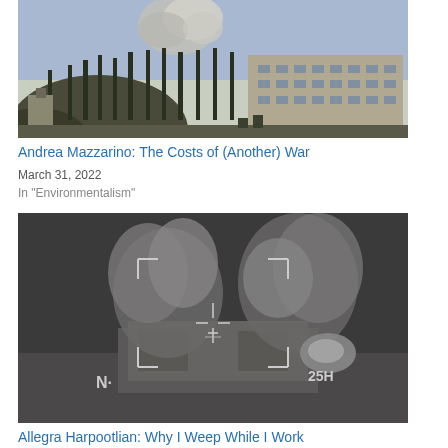[Figure (photo): Aerial view of a city with smoke or cloud rising behind a hill/mountain, and a Soviet-era apartment block visible on the right. Trees in the foreground. War zone, Ukraine.]
Andrea Mazzarino: The Costs of (Another) War
March 31, 2022
In "Environmentalism"
[Figure (photo): Black and white aerial/drone targeting camera footage of a building being struck, with large smoke plumes rising. Crosshair reticle and N compass marker visible, text '25H' in corner.]
Allegra Harpootlian: Why I Weep While I Work
November 1, 2019